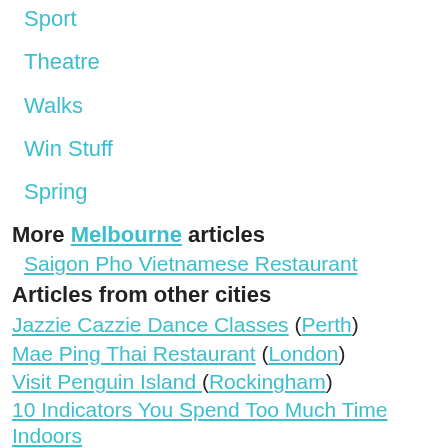Sport
Theatre
Walks
Win Stuff
Spring
More Melbourne articles
Saigon Pho Vietnamese Restaurant
Articles from other cities
Jazzie Cazzie Dance Classes (Perth)
Mae Ping Thai Restaurant (London)
Visit Penguin Island (Rockingham)
10 Indicators You Spend Too Much Time Indoors (Everywhere)
Old-School Activities for Kids (Everywhere)
Game On! Tuesday Nights at The Highway (Adelaide)